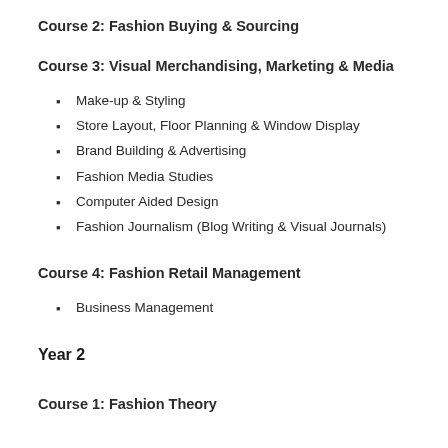Course 2: Fashion Buying & Sourcing
Course 3: Visual Merchandising, Marketing & Media
Make-up & Styling
Store Layout, Floor Planning & Window Display
Brand Building & Advertising
Fashion Media Studies
Computer Aided Design
Fashion Journalism (Blog Writing & Visual Journals)
Course 4: Fashion Retail Management
Business Management
Year 2
Course 1: Fashion Theory